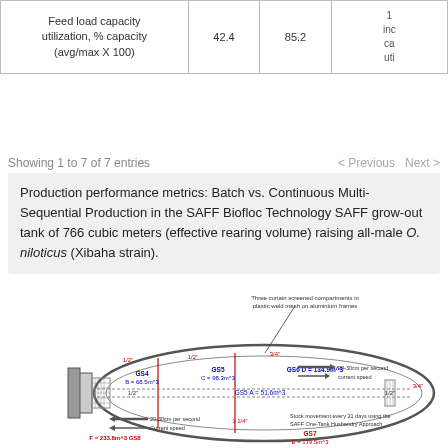|  |  |  |  |
| --- | --- | --- | --- |
| Feed load capacity utilization, % capacity (avg/max X 100) | 42.4 | 85.2 | 1... inc... ca... uti... |
Showing 1 to 7 of 7 entries   < Previous   Next >
Production performance metrics: Batch vs. Continuous Multi-Sequential Production in the SAFF Biofloc Technology SAFF grow-out tank of 766 cubic meters (effective rearing volume) raising all-male O. niloticus (Xibaha strain).
[Figure (engineering-diagram): Top-view engineering schematic of a SAFF Biofloc oval grow-out tank showing three curtain screened compartments in plastic weld mesh on aluminium frames. Compartments labeled GS4 B=68.5m^3, GS5 C=98.3m^3, GS6 D=134.9m^3, GS5 A=51.6m^3, F=233.8m^3 GS8, GS7 E=179.5m^3. Current speed arrows indicate 20-30cm per second. Stock movement every 21 days using the SAFF One-Tank Husbandry Approach.]